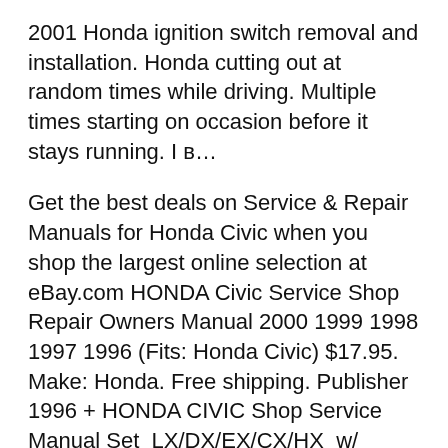2001 Honda ignition switch removal and installation. Honda cutting out at random times while driving. Multiple times starting on occasion before it stays running. I в…
Get the best deals on Service & Repair Manuals for Honda Civic when you shop the largest online selection at eBay.com HONDA Civic Service Shop Repair Owners Manual 2000 1999 1998 1997 1996 (Fits: Honda Civic) $17.95. Make: Honda. Free shipping. Publisher 1996 + HONDA CIVIC Shop Service Manual Set_LX/DX/EX/CX/HX_w/ WIRING DIAGRAMS ETM 29.05.2015В В· 1997-2001 Honda ignition switch removal and installation. Honda cutting out at